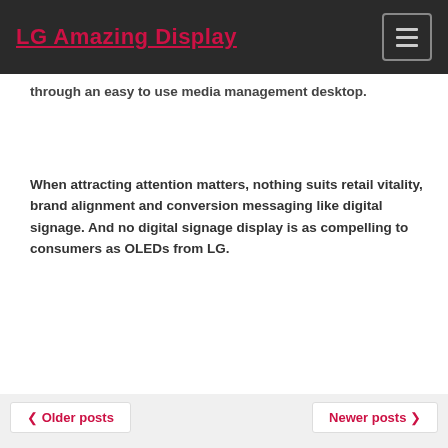LG Amazing Display
through an easy to use media management desktop.
When attracting attention matters, nothing suits retail vitality, brand alignment and conversion messaging like digital signage. And no digital signage display is as compelling to consumers as OLEDs from LG.
< Older posts   Newer posts >